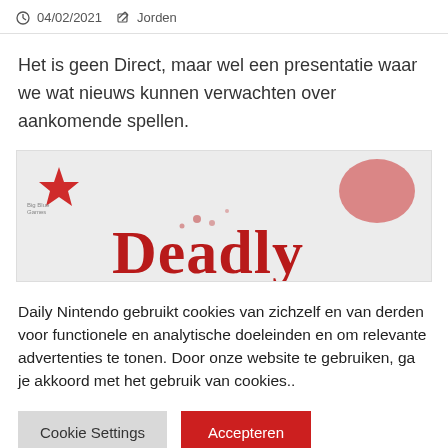04/02/2021  Jorden
Het is geen Direct, maar wel een presentatie waar we wat nieuws kunnen verwachten over aankomende spellen.
[Figure (photo): Partial image showing the text 'Deadly' in red stylized font on a light background, with a red star logo in the top left corner.]
Daily Nintendo gebruikt cookies van zichzelf en van derden voor functionele en analytische doeleinden en om relevante advertenties te tonen. Door onze website te gebruiken, ga je akkoord met het gebruik van cookies..
Cookie Settings  Accepteren
Lees meer